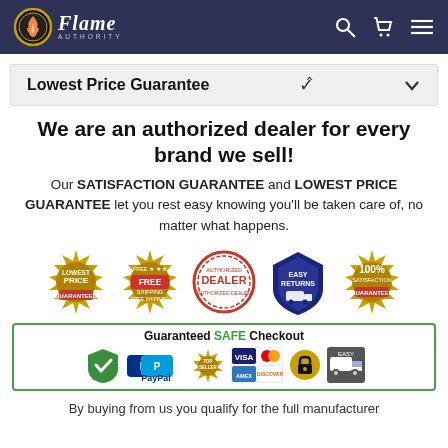Flame Authority
Lowest Price Guarantee
We are an authorized dealer for every brand we sell!
Our SATISFACTION GUARANTEE and LOWEST PRICE GUARANTEE let you rest easy knowing you'll be taken care of, no matter what happens.
[Figure (infographic): Five trust/guarantee badge icons: Lowest Price Guaranteed (gold badge), Free Shipping (gold badge with red text), Authorized Dealer (round red stamp), Easy Returns (blue shield with truck), 100% Satisfaction Guaranteed (gold badge)]
[Figure (infographic): Guaranteed SAFE Checkout banner with payment icons: SSL secure shield, PayPal, Top Seller badge, Visa, Mastercard, American Express, Discover, security lock, Easy Ship truck]
By buying from us you qualify for the full manufacturer